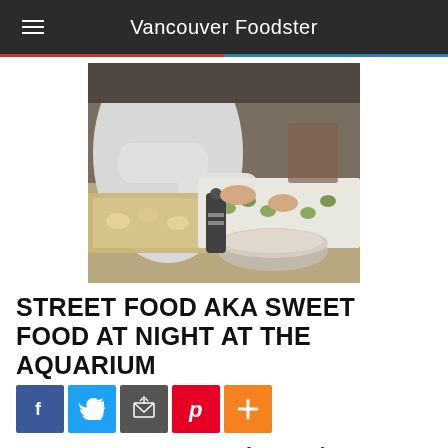Vancouver Foodster
[Figure (photo): Chef in white coat working at a kitchen counter with baking trays, bowls, and food preparation items]
STREET FOOD AKA SWEET FOOD AT NIGHT AT THE AQUARIUM
[Figure (infographic): Social media share buttons: Facebook, Twitter, Email, Pinterest, More (+)]
Yes Vancouver is a paradise for great food it also has a growing mecca of Street Food carts! Students of the Pastry Class at